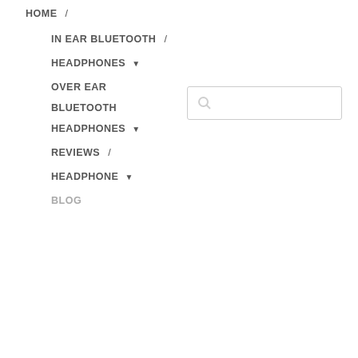HOME /
IN EAR BLUETOOTH /
HEADPHONES ▾
OVER EAR
BLUETOOTH
HEADPHONES ▾
REVIEWS /
HEADPHONE ▾
BLOG
Mic Does Pewdiepie Use
to tell if Airpods Pro are Fake/Compare the Difference, How
Headphones for Swimming